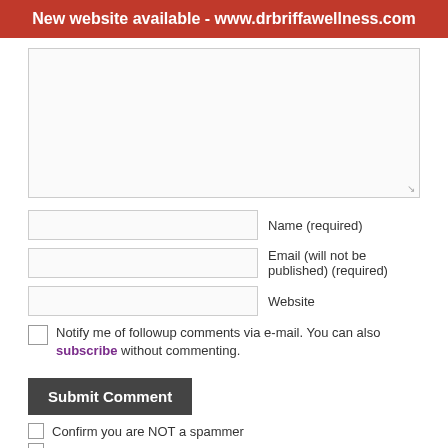New website available - www.drbriffawellness.com
[Figure (screenshot): Comment form textarea (empty, large)]
Name (required)
Email (will not be published) (required)
Website
Notify me of followup comments via e-mail. You can also subscribe without commenting.
Submit Comment
Confirm you are NOT a spammer